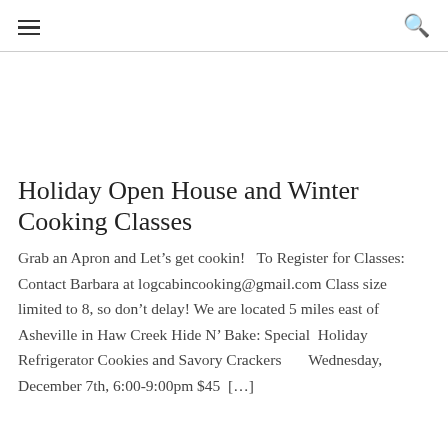≡  🔍
Holiday Open House and Winter Cooking Classes
Grab an Apron and Let's get cookin!   To Register for Classes: Contact Barbara at logcabincooking@gmail.com Class size limited to 8, so don't delay! We are located 5 miles east of Asheville in Haw Creek Hide N' Bake: Special  Holiday Refrigerator Cookies and Savory Crackers        Wednesday, December 7th, 6:00-9:00pm $45  […]